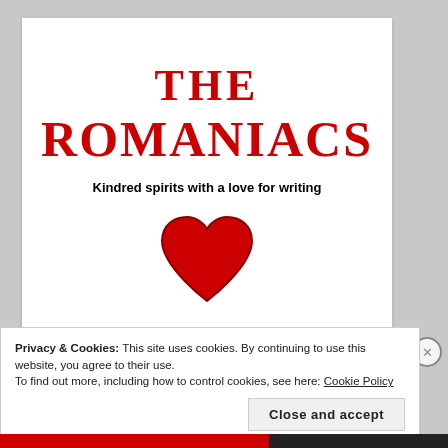[Figure (illustration): White card with 'THE ROMANIACS' in red serif bold font, subtitle 'Kindred spirits with a love for writing' in bold black, and a large red heart emoji/graphic below.]
Privacy & Cookies: This site uses cookies. By continuing to use this website, you agree to their use.
To find out more, including how to control cookies, see here: Cookie Policy
Close and accept